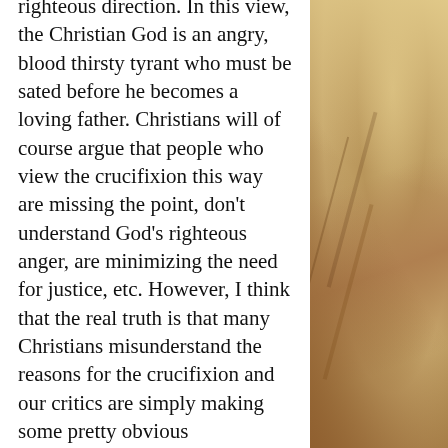righteous direction. In this view, the Christian God is an angry, blood thirsty tyrant who must be sated before he becomes a loving father. Christians will of course argue that people who view the crucifixion this way are missing the point, don't understand God's righteous anger, are minimizing the need for justice, etc. However, I think that the real truth is that many Christians misunderstand the reasons for the crucifixion and our critics are simply making some pretty obvious observations about our own teachings regarding the propitiation of sins and the death of Jesus. I know that I'm treading on some pretty hallowed theological ground here, but if you'll stick with me, I think you may find that my upside down and backwards view of this issue is...